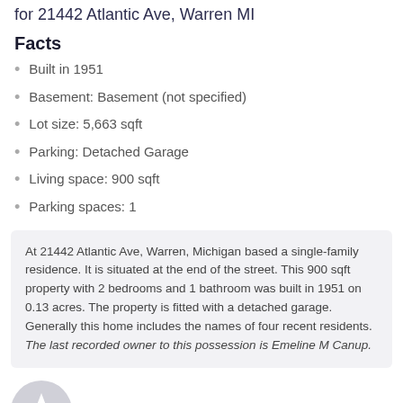for 21442 Atlantic Ave, Warren MI
Facts
Built in 1951
Basement: Basement (not specified)
Lot size: 5,663 sqft
Parking: Detached Garage
Living space: 900 sqft
Parking spaces: 1
At 21442 Atlantic Ave, Warren, Michigan based a single-family residence. It is situated at the end of the street. This 900 sqft property with 2 bedrooms and 1 bathroom was built in 1951 on 0.13 acres. The property is fitted with a detached garage. Generally this home includes the names of four recent residents. The last recorded owner to this possession is Emeline M Canup.
Resident History